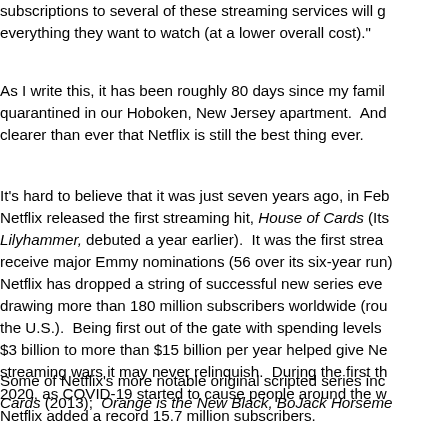subscriptions to several of these streaming services will give everything they want to watch (at a lower overall cost)."
As I write this, it has been roughly 80 days since my family quarantined in our Hoboken, New Jersey apartment.  And it's clearer than ever that Netflix is still the best thing ever.
It's hard to believe that it was just seven years ago, in February, Netflix released the first streaming hit, House of Cards (Its first, Lilyhammer, debuted a year earlier).  It was the first streaming show to receive major Emmy nominations (56 over its six-year run).  Since then, Netflix has dropped a string of successful new series every year, now drawing more than 180 million subscribers worldwide (roughly 70 million in the U.S.).  Being first out of the gate with spending levels that grew from $3 billion to more than $15 billion per year helped give Netflix a lead in the streaming wars it may never relinquish.  During the first three months of 2020, as COVID-19 started to cause people around the world to stay home, Netflix added a record 15.7 million subscribers.
Some of Netflix's more notable original scripted series include House of Cards (2013);  Orange is the New Black, BoJack Horseman,